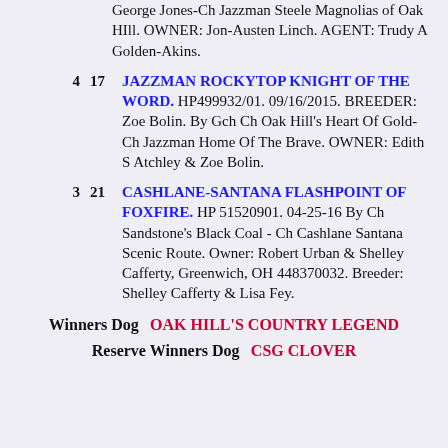George Jones-Ch Jazzman Steele Magnolias of Oak HIll. OWNER: Jon-Austen Linch. AGENT: Trudy A Golden-Akins.
4  17  JAZZMAN ROCKYTOP KNIGHT OF THE WORD. HP499932/01. 09/16/2015. BREEDER: Zoe Bolin. By Gch Ch Oak Hill's Heart Of Gold-Ch Jazzman Home Of The Brave. OWNER: Edith S Atchley & Zoe Bolin.
3  21  CASHLANE-SANTANA FLASHPOINT OF FOXFIRE. HP 51520901. 04-25-16 By Ch Sandstone's Black Coal - Ch Cashlane Santana Scenic Route. Owner: Robert Urban & Shelley Cafferty, Greenwich, OH 448370032. Breeder: Shelley Cafferty & Lisa Fey.
Winners Dog  OAK HILL'S COUNTRY LEGEND
Reserve Winners Dog  CSG CLOVER